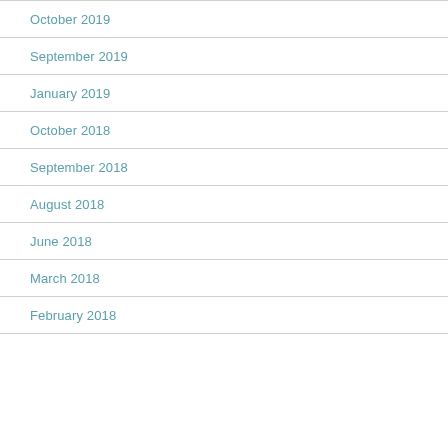October 2019
September 2019
January 2019
October 2018
September 2018
August 2018
June 2018
March 2018
February 2018